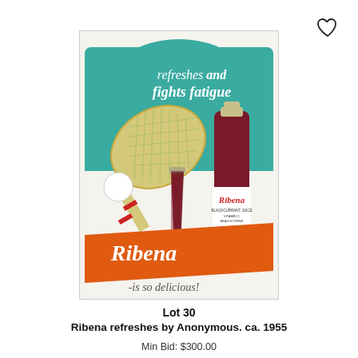[Figure (illustration): Vintage Ribena advertisement poster circa 1955 showing a bottle of Ribena blackcurrant juice, a glass of the drink, a tennis racket, and a tennis ball on a teal/green background with orange banner. Text reads: 'refreshes and fights fatigue', 'Ribena', '-is so delicious!']
Lot 30
Ribena refreshes by Anonymous. ca. 1955
Min Bid: $300.00
Final Price: $381.00
Estimate: $600 - $800